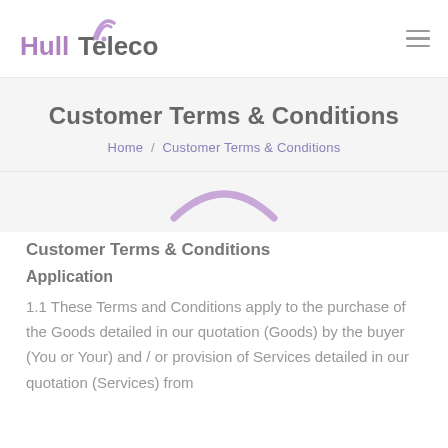[Figure (logo): HullTeleco logo with purple wifi arc above the letter T, purple 'Hull' and grey 'Teleco' text]
Customer Terms & Conditions
Home / Customer Terms & Conditions
[Figure (illustration): Purple arc/wifi decorative divider]
Customer Terms & Conditions
Application
1.1 These Terms and Conditions apply to the purchase of the Goods detailed in our quotation (Goods) by the buyer (You or Your) and / or provision of Services detailed in our quotation (Services) from